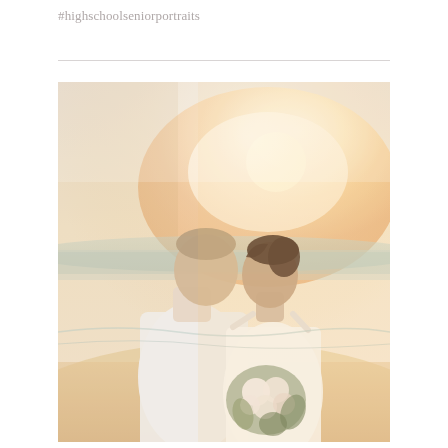#highschoolseniorportraits
[Figure (photo): A romantic beach wedding couple photo at golden hour sunset. A groom in a white suit kisses the bride on the forehead/temple. The bride wears a white off-shoulder dress and holds a bouquet of white and blush flowers. The beach and warm glowing sunset are visible in the background.]